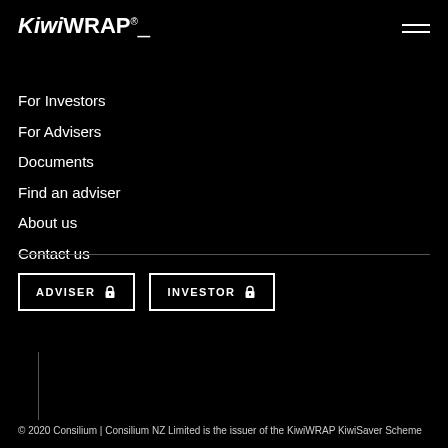KiwiWRAP®
For Investors
For Advisers
Documents
Find an adviser
About us
Contact us
ADVISER  INVESTOR
© 2020 Consilium | Consilium NZ Limited is the issuer of the KiwiWRAP KiwiSaver Scheme